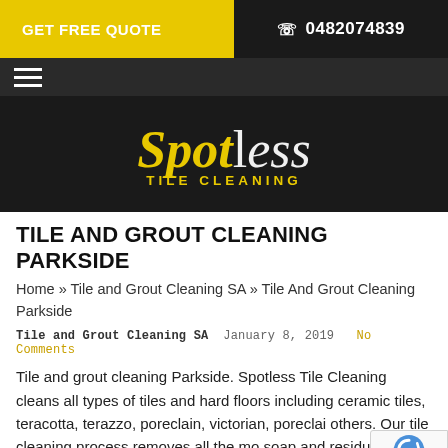GET FREE QUOTE   0482074839
[Figure (logo): Spotless Tile Cleaning logo — stylized yellow and white text on dark background]
TILE AND GROUT CLEANING PARKSIDE
Home » Tile and Grout Cleaning SA » Tile And Grout Cleaning Parkside
Tile and Grout Cleaning SA   January 8, 2019   No Comments
Tile and grout cleaning Parkside. Spotless Tile Cleaning cleans all types of tiles and hard floors including ceramic tiles, teracotta, terazzo, poreclain, victorian, poreclain others. Our tile cleaning process removes all the mo soap and residues from the tiles. 24/7 availability. Call